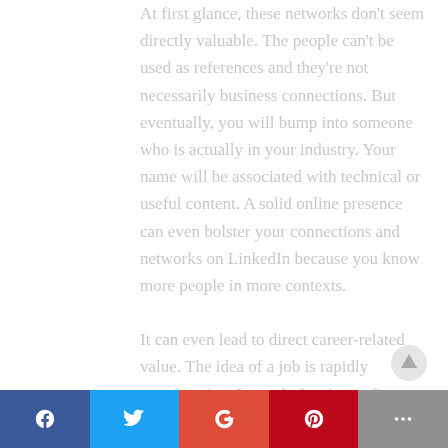At first glance, these networks don't seem directly valuable. The people can't be used as references and they're not necessarily business connections. But eventually, you will bump into someone who is actually in your industry. Your name will be associated with technical or useful content. A solid online presence can even bolster your connections and networks on LinkedIn because you know more people in more contexts.

It can even lead to direct career-related value. The idea of a job is rapidly transforming. Instead of a nine to five occupation that is strictly separating from
[Figure (other): Social sharing bar at bottom with Facebook, Twitter, Google+, Pinterest, and More buttons]